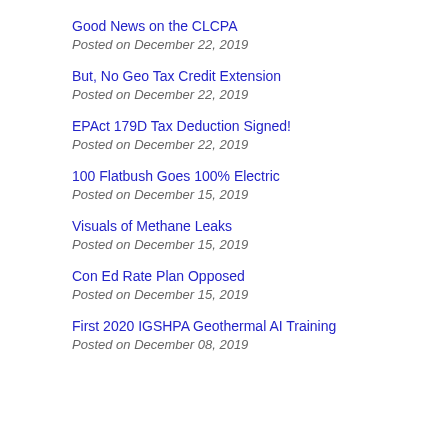Good News on the CLCPA
Posted on December 22, 2019
But, No Geo Tax Credit Extension
Posted on December 22, 2019
EPAct 179D Tax Deduction Signed!
Posted on December 22, 2019
100 Flatbush Goes 100% Electric
Posted on December 15, 2019
Visuals of Methane Leaks
Posted on December 15, 2019
Con Ed Rate Plan Opposed
Posted on December 15, 2019
First 2020 IGSHPA Geothermal AI Training
Posted on December 08, 2019